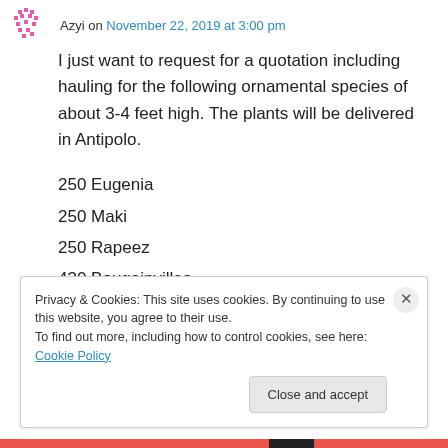Azyi on November 22, 2019 at 3:00 pm
I just want to request for a quotation including hauling for the following ornamental species of about 3-4 feet high. The plants will be delivered in Antipolo.
250 Eugenia
250 Maki
250 Rapeez
430 Bougainvillea
Privacy & Cookies: This site uses cookies. By continuing to use this website, you agree to their use.
To find out more, including how to control cookies, see here: Cookie Policy